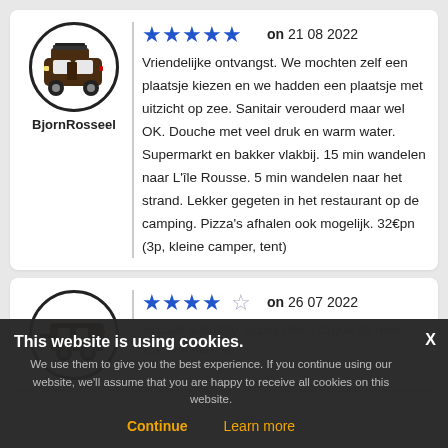[Figure (illustration): Camper van icon inside a circle, first review avatar]
BjornRosseel
★★★★★ on 21 08 2022
Vriendelijke ontvangst. We mochten zelf een plaatsje kiezen en we hadden een plaatsje met uitzicht op zee. Sanitair verouderd maar wel OK. Douche met veel druk en warm water. Supermarkt en bakker vlakbij. 15 min wandelen naar L'île Rousse. 5 min wandelen naar het strand. Lekker gegeten in het restaurant op de camping. Pizza's afhalen ook mogelijk. 32€pn (3p, kleine camper, tent)
[Figure (illustration): Caravan/trailer icon inside a circle, second review avatar]
★★★★☆ on 26 07 2022
Accueil adorable, accès direct cirque de rêve, 25€ l nv ABTHE
This website is using cookies. We use them to give you the best experience. If you continue using our website, we'll assume that you are happy to receive all cookies on this website. Continue  Learn more